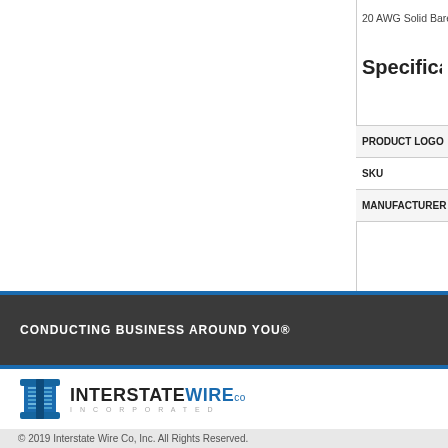20 AWG Solid Bare Copp
Specifications
| Field | Value |
| --- | --- |
| PRODUCT LOGO |  |
| SKU |  |
| MANUFACTURER |  |
CONDUCTING BUSINESS AROUND YOU®
[Figure (logo): Interstate Wire Co Incorporated logo with blue wire spool icon]
© 2019 Interstate Wire Co, Inc. All Rights Reserved.